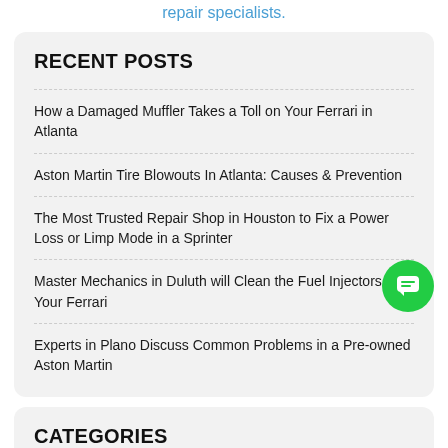repair specialists.
RECENT POSTS
How a Damaged Muffler Takes a Toll on Your Ferrari in Atlanta
Aston Martin Tire Blowouts In Atlanta: Causes & Prevention
The Most Trusted Repair Shop in Houston to Fix a Power Loss or Limp Mode in a Sprinter
Master Mechanics in Duluth will Clean the Fuel Injectors of Your Ferrari
Experts in Plano Discuss Common Problems in a Pre-owned Aston Martin
CATEGORIES
Aston Martin Service